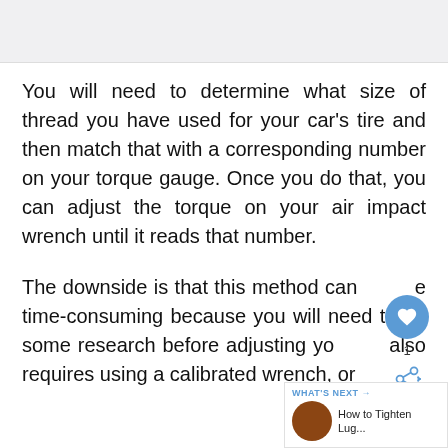[Figure (other): Partial image or graphic at top of page (partially visible)]
You will need to determine what size of thread you have used for your car’s tire and then match that with a corresponding number on your torque gauge. Once you do that, you can adjust the torque on your air impact wrench until it reads that number.
The downside is that this method can be time-consuming because you will need to do some research before adjusting your wrench. It also requires using a calibrated wrench, or